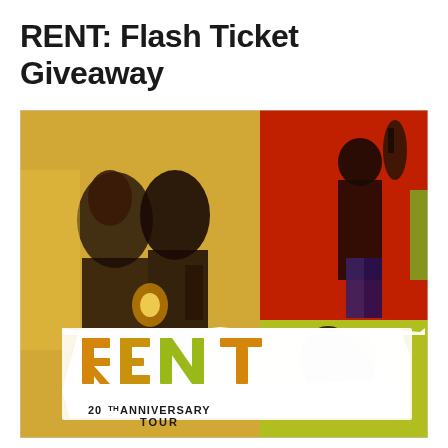RENT: Flash Ticket Giveaway
[Figure (photo): RENT 20th Anniversary Tour promotional poster featuring two performers sharing a candle in an intimate pose on the left (golden/warm background), a guitarist performer in red on the upper right, and a woman with curly hair in the lower right. The RENT logo with 20th Anniversary Tour text is displayed prominently in the lower left of the poster.]